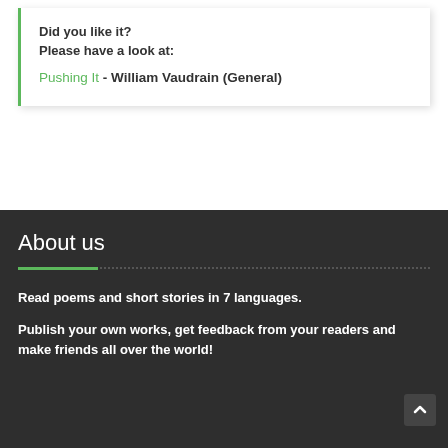Did you like it?
Please have a look at:
Pushing It - William Vaudrain (General)
About us
Read poems and short stories in 7 languages.
Publish your own works, get feedback from your readers and make friends all over the world!